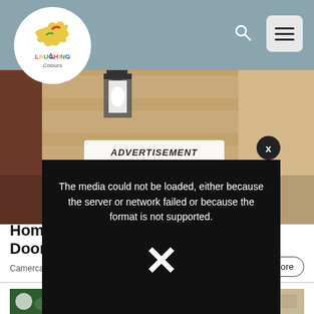[Figure (logo): Laughing Colours logo in a white circle — stylized bird/figure graphic with colourful text 'LAUGHING Colours']
[Figure (photo): Background hero photo of an outdoor wall lantern / doorbell camera mounted on a stone wall]
ADVERTISEMENT
[Figure (screenshot): Video player error overlay: black rectangle with message 'The media could not be loaded, either because the server or network failed or because the format is not supported.' and a large white X below]
Home Doorb
Camerca |
Learn More
[Figure (photo): Small thumbnail image of flowers/greenery on left]
[Figure (photo): Small thumbnail image on right]